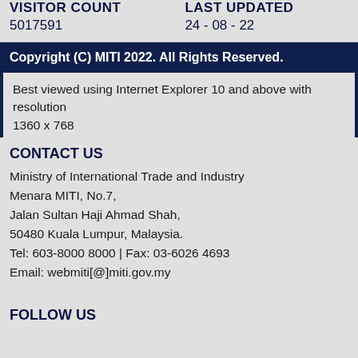VISITOR COUNT 5017591 | LAST UPDATED 24 - 08 - 22
Copyright (C) MITI 2022. All Rights Reserved.
Best viewed using Internet Explorer 10 and above with resolution 1360 x 768
CONTACT US
Ministry of International Trade and Industry
Menara MITI, No.7,
Jalan Sultan Haji Ahmad Shah,
50480 Kuala Lumpur, Malaysia.
Tel: 603-8000 8000 | Fax: 03-6026 4693
Email: webmiti[@]miti.gov.my
FOLLOW US